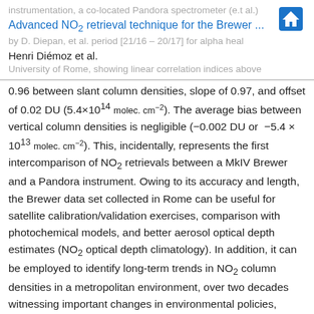instrumentation, a co-located Pandora spectrometer (e.t al.)
Advanced NO2 retrieval technique for the Brewer ...
by D. Diepan, et al. period [21/16 – 20/17] for alpha heal
Henri Diémoz et al.
University of Rome, showing linear correlation indices above
0.96 between slant column densities, slope of 0.97, and offset of 0.02 DU (5.4×10^14 molec. cm^−2). The average bias between vertical column densities is negligible (−0.002 DU or −5.4 × 10^13 molec. cm^−2). This, incidentally, represents the first intercomparison of NO2 retrievals between a MkIV Brewer and a Pandora instrument. Owing to its accuracy and length, the Brewer data set collected in Rome can be useful for satellite calibration/validation exercises, comparison with photochemical models, and better aerosol optical depth estimates (NO2 optical depth climatology). In addition, it can be employed to identify long-term trends in NO2 column densities in a metropolitan environment, over two decades witnessing important changes in environmental policies, emission loads and composition, and the effect of a worldwide economic recession, to offer just a few examples.